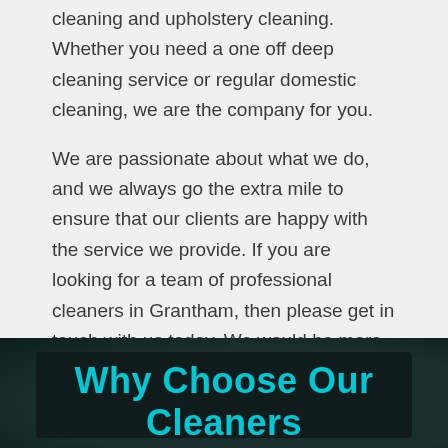cleaning and upholstery cleaning. Whether you need a one off deep cleaning service or regular domestic cleaning, we are the company for you.
We are passionate about what we do, and we always go the extra mile to ensure that our clients are happy with the service we provide. If you are looking for a team of professional cleaners in Grantham, then please get in touch with us today. We would be more than happy to discuss your individual cleaning requirements and provide you with a free quotation.
Why Choose Our Cleaners